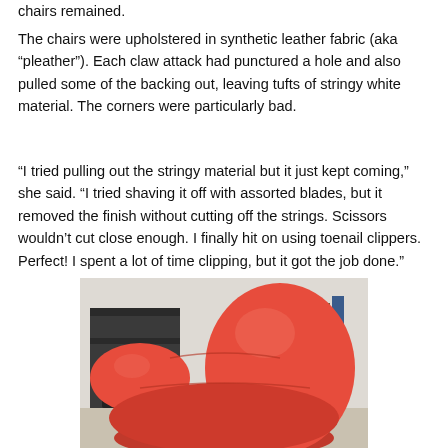chairs remained.
The chairs were upholstered in synthetic leather fabric (aka “pleather”). Each claw attack had punctured a hole and also pulled some of the backing out, leaving tufts of stringy white material. The corners were particularly bad.
“I tried pulling out the stringy material but it just kept coming,” she said. “I tried shaving it off with assorted blades, but it removed the finish without cutting off the strings. Scissors wouldn’t cut close enough. I finally hit on using toenail clippers. Perfect! I spent a lot of time clipping, but it got the job done.”
[Figure (photo): A red pleather chair photographed in a room with a dark table or shelving unit in the background. The chair appears to be a modern lounge-style chair with rounded forms.]